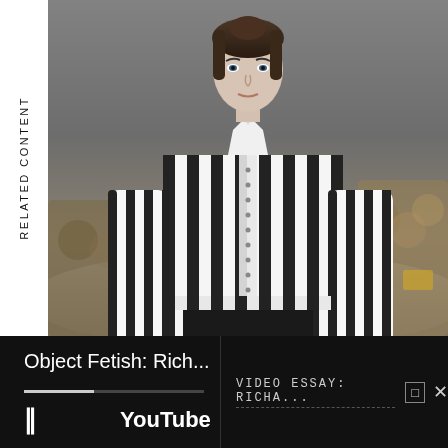RELATED CONTENT
[Figure (photo): Fashion model wearing a black and white vertical striped shirt, walking a runway with blurred audience in the background]
Object Fetish: Rich...
VIDEO ESSAY: RICHA...
II   YouTube